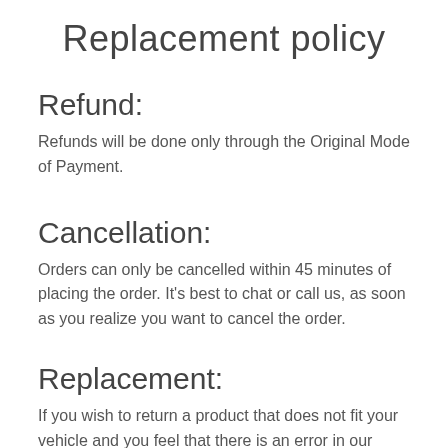Replacement policy
Refund:
Refunds will be done only through the Original Mode of Payment.
Cancellation:
Orders can only be cancelled within 45 minutes of placing the order. It's best to chat or call us, as soon as you realize you want to cancel the order.
Replacement:
If you wish to return a product that does not fit your vehicle and you feel that there is an error in our listing, please